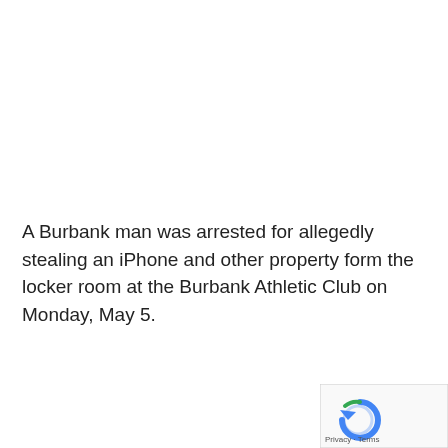A Burbank man was arrested for allegedly stealing an iPhone and other property form the locker room at the Burbank Athletic Club on Monday, May 5.
[Figure (other): reCAPTCHA widget with privacy and terms links in bottom-right corner]